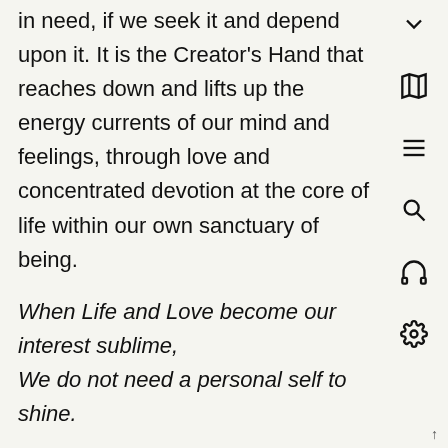in need, if we seek it and depend upon it. It is the Creator's Hand that reaches down and lifts up the energy currents of our mind and feelings, through love and concentrated devotion at the core of life within our own sanctuary of being.
When Life and Love become our interest sublime,
We do not need a personal self to shine.
Life's own radiance exceeds all when we truly forget self and its limitations and sufferings, by being lost in Love and Life as the One Jewel of Reality worth living for.
3 - principles & application